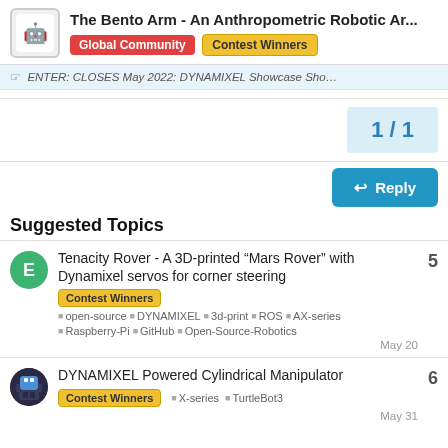The Bento Arm - An Anthropometric Robotic Ar... | Global Community | Contest Winners
ENTER: CLOSES May 2022: DYNAMIXEL Showcase Sho...
1 / 1
Reply
Suggested Topics
Tenacity Rover - A 3D-printed “Mars Rover” with Dynamixel servos for corner steering | Contest Winners | open-source DYNAMIXEL 3d-print ROS AX-series Raspberry-Pi GitHub Open-Source-Robotics | 5 | May 20
DYNAMIXEL Powered Cylindrical Manipulator | Contest Winners | X-series TurtleBot3 | 6 | May 31